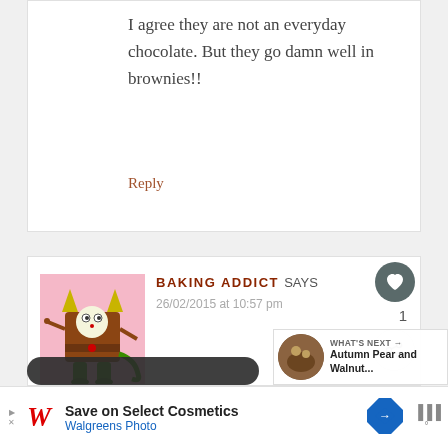I agree they are not an everyday chocolate. But they go damn well in brownies!!
Reply
BAKING ADDICT SAYS
26/02/2015 at 10:57 pm
[Figure (illustration): Cartoon monster avatar: a brown square-bodied creature with yellow horns, white face with spots, green legs and tail, on pink background]
WHAT'S NEXT → Autumn Pear and Walnut...
[Figure (photo): Small circular thumbnail of Autumn Pear and Walnut dish]
Save on Select Cosmetics Walgreens Photo